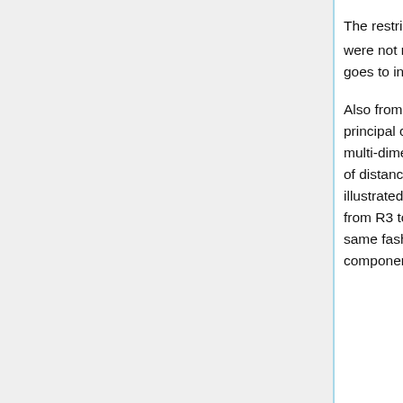The restriction u^T u = 1 is to bound the problem. If the length of u were not restricted, u^T Su would go to infinity as the magnitude of u goes to infinity. The selection of 1 as the bound is arbitrary.
Also from the three images above, we can see that the first principal component is the "line of best fit" that passes through the multi-dimensional mean of all data points, that minimizes the sum of distance squared from data points to the vector. Tho not illustrated but if the above example is doing dimensional reduction from R3 to R1, then the second principal component will have the same fashion as first component, with correlation between the first component and data points removed.